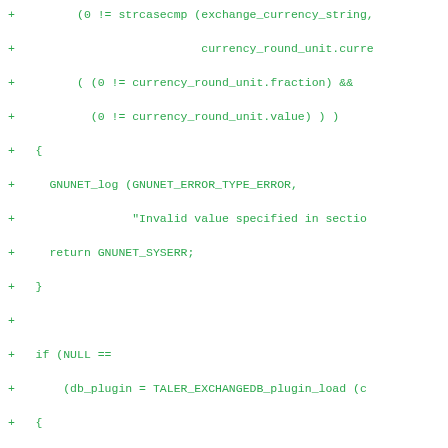[Figure (other): Code diff snippet in green monospace font showing C code additions with + markers, including strcasecmp, currency_round_unit checks, GNUNET_log calls, TALER_EXCHANGEDB_plugin_load, TALER_EXCHANGEDB_load_accounts, and TALER_EXCHANGEDB_plugin_unload function calls.]